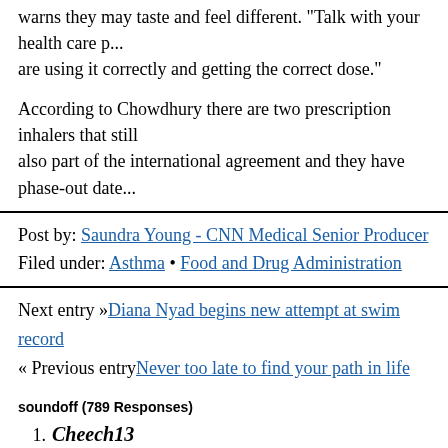warns they may taste and feel different. "Talk with your health care p... are using it correctly and getting the correct dose."
According to Chowdhury there are two prescription inhalers that still... also part of the international agreement and they have phase-out date...
Post by: Saundra Young - CNN Medical Senior Producer
Filed under: Asthma • Food and Drug Administration
Next entry »Diana Nyad begins new attempt at swim record
« Previous entryNever too late to find your path in life
soundoff (789 Responses)
1. Cheech13
Because they care:
"During 2001–2009, the proportion of persons of all ages with... increased significantly (12.3%), from 7.3% (20.3 million perso... persons)."
"a rising trend in asthma prevalence was observed for non-His... 17.0%), non-Hispanic white women (8.9% to 10.1%), and non... 8.4%)"